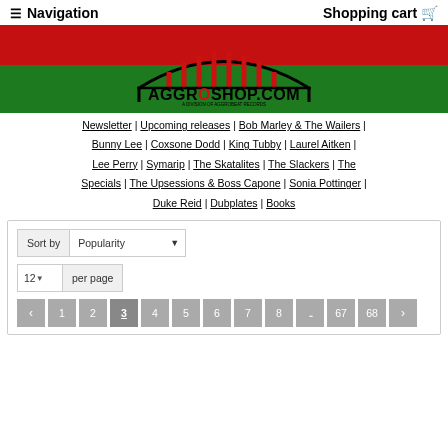≡ Navigation   Shopping cart 🛒
[Figure (logo): AggroShop.com logo on red and green banner - A Division of Aggrobeat Records, Reggae Vinyl Specialist From The Dutch | German Border Area]
Newsletter | Upcoming releases | Bob Marley & The Wailers | Bunny Lee | Coxsone Dodd | King Tubby | Laurel Aitken | Lee Perry | Symarip | The Skatalites | The Slackers | The Specials | The Upsessions & Boss Capone | Sonia Pottinger | Duke Reid | Dubplates | Books
Sort by  Popularity ▾
12▾  per page
‹ 1 2 3 4 5 6 7 8 … 67 68 ›